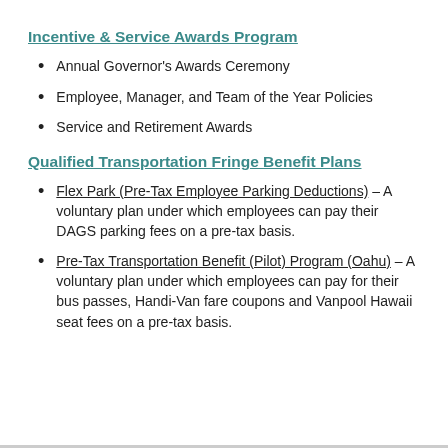Incentive & Service Awards Program
Annual Governor's Awards Ceremony
Employee, Manager, and Team of the Year Policies
Service and Retirement Awards
Qualified Transportation Fringe Benefit Plans
Flex Park (Pre-Tax Employee Parking Deductions) – A voluntary plan under which employees can pay their DAGS parking fees on a pre-tax basis.
Pre-Tax Transportation Benefit (Pilot) Program (Oahu) – A voluntary plan under which employees can pay for their bus passes, Handi-Van fare coupons and Vanpool Hawaii seat fees on a pre-tax basis.